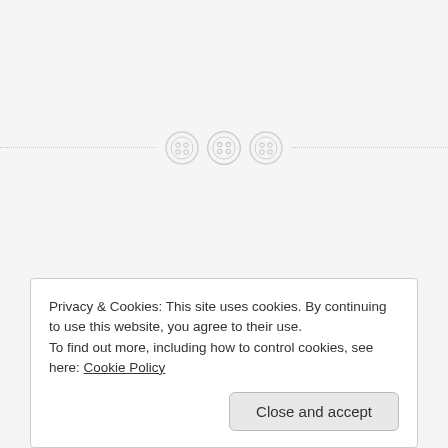[Figure (illustration): Decorative divider with three button/sewing-button circular icons centered on a dotted horizontal line]
ALWAYS LEARNING · ARE THEY TEACHABLE? · BIBLE STUDIES · BIBLE STUDY · BIBLE STUDY 101 · CHICKENSOUP FORYOURSOUL · COMMON SENSE =LOVE · DISCIPLES FOR JESUS · GRACETOGROW · GRACETOGROWSTUDY · GROWING IN CHRIST · KNOWING AND GROWING · LESSON OF THE EGGPLANT · LORD CHANGE ME · STAYING HUMBLE · UNCATEGORIZED · WHAT
Privacy & Cookies: This site uses cookies. By continuing to use this website, you agree to their use.
To find out more, including how to control cookies, see here: Cookie Policy
Close and accept